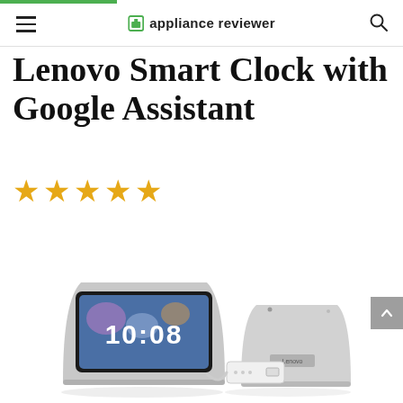appliance reviewer
Lenovo Smart Clock with Google Assistant
[Figure (illustration): Five gold star rating icons]
[Figure (photo): Lenovo Smart Clock with Google Assistant product photo showing the smart display with 10:08 on screen and a charging adapter beside it]